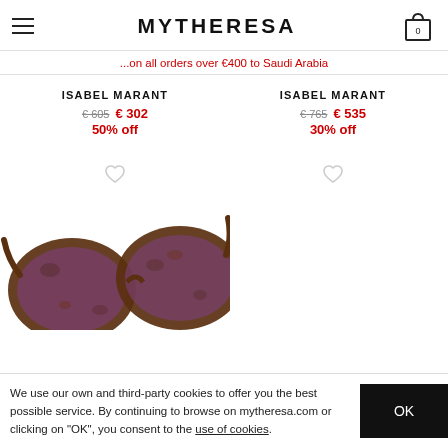MYTHERESA
...on all orders over €400 to Saudi Arabia
ISABEL MARANT
€ 605  € 302
50% off
ISABEL MARANT
€ 765  € 535
30% off
[Figure (photo): Tortoiseshell round sunglasses with dark rose lenses by Isabel Marant, partially visible at bottom of page]
We use our own and third-party cookies to offer you the best possible service. By continuing to browse on mytheresa.com or clicking on "OK", you consent to the use of cookies.